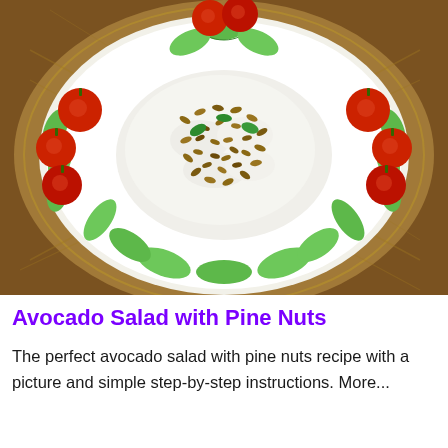[Figure (photo): A white plate on a woven placemat with avocado slices arranged around the edge, topped with a creamy white dressing and toasted pine nuts, garnished with cherry tomatoes and fresh mint leaves.]
Avocado Salad with Pine Nuts
The perfect avocado salad with pine nuts recipe with a picture and simple step-by-step instructions. More...